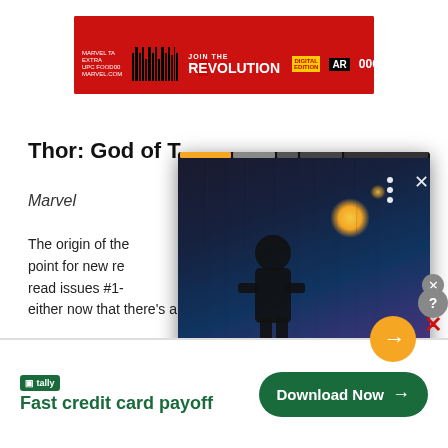[Figure (other): Red advertisement banner: JOIN THE REVOLUTION with barcode and DIGITAL EDITION badge, issue 006]
Thor: God of T[hunder]
Marvel
The origin of the [story] point for new re[aders to] read issues #1-[x] either now that there's a new artist, but it's still a great
[Figure (screenshot): Video overlay popup showing dark cinematic still with figure in rain, golden glowing light, play button arrow, and caption 'Netflix adds surprise 11th episode of Sandman']
[Figure (other): Tally advertisement: Fast credit card payoff with Download Now button]